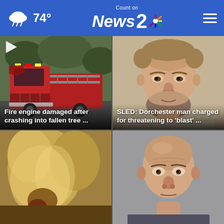74° Count on News 2 NBC
[Figure (screenshot): News card: damaged red fire engine after crash into tree]
[Figure (photo): Mugshot of middle-aged man with beard charged by SLED]
[Figure (photo): Animal photo, partially visible]
[Figure (photo): Mugshot of bald man, partially visible]
Fire engine damaged after crashing into fallen tree ...
SLED: Dorchester man charged for threatening to 'blast' ...